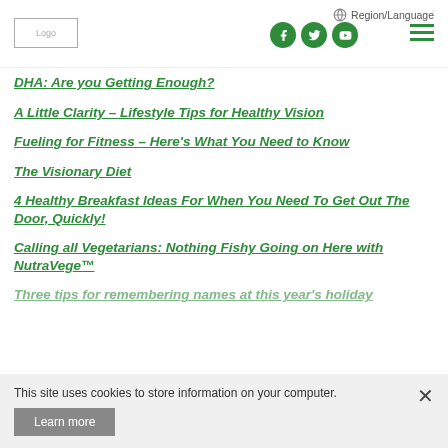Logo | Region/Language | Social icons | Menu
DHA: Are you Getting Enough?
A Little Clarity – Lifestyle Tips for Healthy Vision
Fueling for Fitness – Here's What You Need to Know
The Visionary Diet
4 Healthy Breakfast Ideas For When You Need To Get Out The Door, Quickly!
Calling all Vegetarians: Nothing Fishy Going on Here with NutraVege™
Three tips for remembering names at this year's holiday
This site uses cookies to store information on your computer.
Learn more